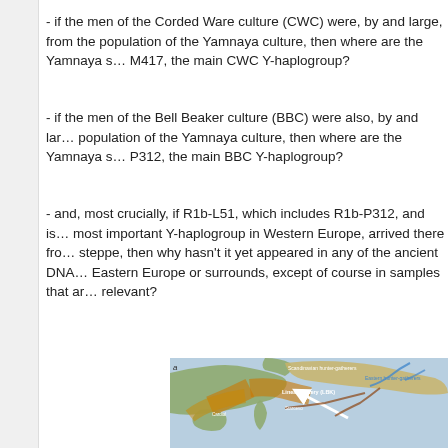- if the men of the Corded Ware culture (CWC) were, by and large, from the population of the Yamnaya culture, then where are the Yamnaya samples with M417, the main CWC Y-haplogroup?
- if the men of the Bell Beaker culture (BBC) were also, by and large, from the population of the Yamnaya culture, then where are the Yamnaya samples with P312, the main BBC Y-haplogroup?
- and, most crucially, if R1b-L51, which includes R1b-P312, and is the most important Y-haplogroup in Western Europe, arrived there from the steppe, then why hasn't it yet appeared in any of the ancient DNA from Eastern Europe or surrounds, except of course in samples that are relevant?
[Figure (map): Map of Europe showing migration routes of prehistoric cultures including Scandinavian hunter-gatherers, Eastern hunter-gatherers, Linear pottery (LBK), Cardial pottery, Starcevo, and arrows indicating population movements across Europe and from the steppe.]